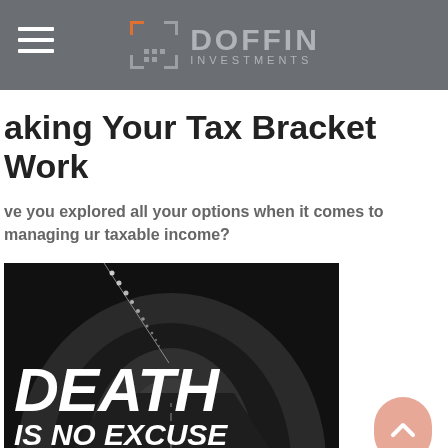DOFFIN INVESTMENTS
Making Your Tax Bracket Work
Have you explored all your options when it comes to managing your taxable income?
[Figure (photo): Black and white photo of a tunnel with bold white italic text overlay reading 'DEATH IS NO EXCUSE']